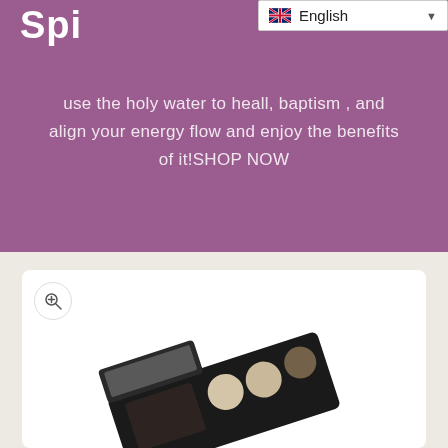Spi
[Figure (screenshot): Language selector dropdown showing English with UK flag]
use the holy water to heall,  baptism , and align your energy flow and enjoy the benefits of it!SHOP NOW
[Figure (photo): Makeup eyeshadow palette with black case and neutral tones, partially visible at bottom of page, with zoom icon button]